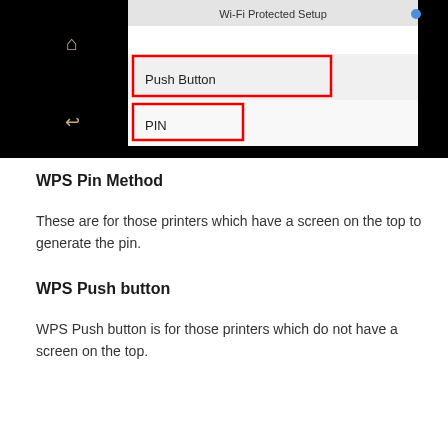[Figure (screenshot): Printer screen showing Wi-Fi Protected Setup menu with Push Button and PIN options highlighted in red boxes, on a black background with home and back icons.]
WPS Pin Method
These are for those printers which have a screen on the top to generate the pin.
WPS Push button
WPS Push button is for those printers which do not have a screen on the top.